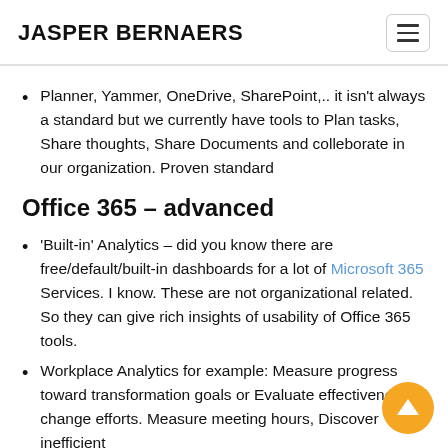JASPER BERNAERS
Planner, Yammer, OneDrive, SharePoint,.. it isn't always a standard but we currently have tools to Plan tasks, Share thoughts, Share Documents and colleborate in our organization. Proven standard
Office 365 – advanced
'Built-in' Analytics – did you know there are free/default/built-in dashboards for a lot of Microsoft 365 Services. I know. These are not organizational related. So they can give rich insights of usability of Office 365 tools.
Workplace Analytics for example: Measure progress toward transformation goals or Evaluate effectiveness of change efforts. Measure meeting hours, Discover inefficient